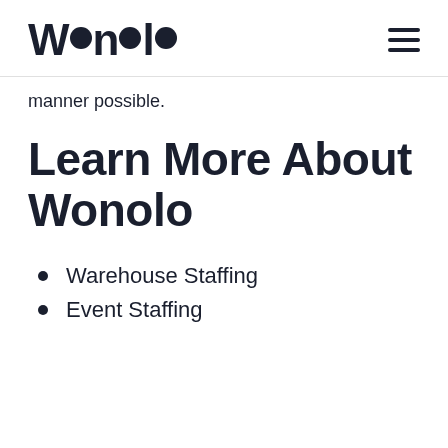Wonolo
manner possible.
Learn More About Wonolo
Warehouse Staffing
Event Staffing